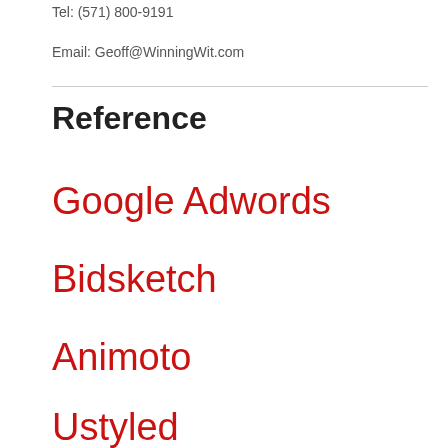Tel: (571) 800-9191
Email: Geoff@WinningWit.com
Reference
Google Adwords
Bidsketch
Animoto
Ustyled